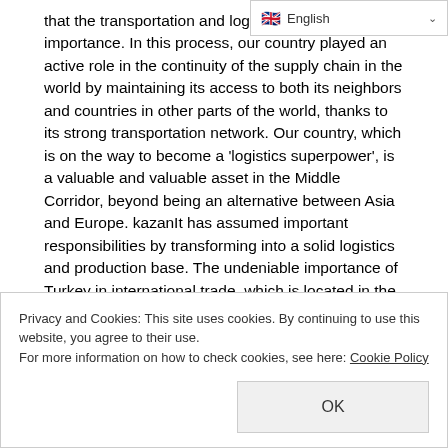that the transportation and logistics importance. In this process, our country played an active role in the continuity of the supply chain in the world by maintaining its access to both its neighbors and countries in other parts of the world, thanks to its strong transportation network. Our country, which is on the way to become a 'logistics superpower', is a valuable and valuable asset in the Middle Corridor, beyond being an alternative between Asia and Europe. kazanIt has assumed important responsibilities by transforming into a solid logistics and production base. The undeniable importance of Turkey in international trade, which is located in the Middle Corridor of the historical Silk Road stretching from China to London, was once again revealed. The logistics crisis experienced with the "The Ever Given" Shi...
Privacy and Cookies: This site uses cookies. By continuing to use this website, you agree to their use.
For more information on how to check cookies, see here: Cookie Policy